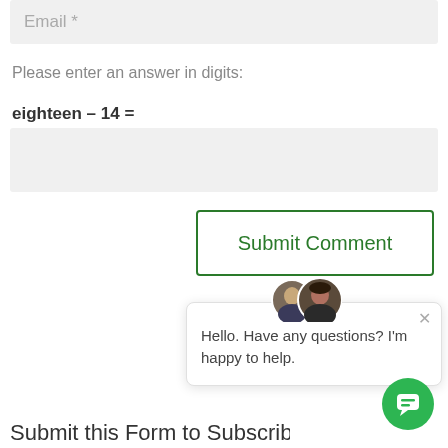[Figure (screenshot): Email input field with placeholder text 'Email *' on a light grey background]
Please enter an answer in digits:
[Figure (screenshot): Empty text input field on light grey background for math answer]
[Figure (screenshot): Submit Comment button with green border and green text]
[Figure (screenshot): Chat widget popup with two avatars (man and woman), close X button, and text: Hello. Have any questions? I'm happy to help.]
[Figure (screenshot): Green circular chat bubble button in bottom right corner]
Submit this Form to Subscribe for